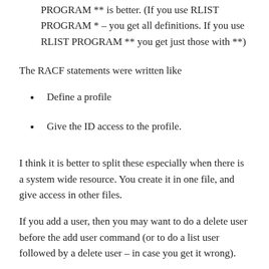PROGRAM ** is better. (If you use RLIST PROGRAM * – you get all definitions. If you use RLIST PROGRAM ** you get just those with **)
The RACF statements were written like
Define a profile
Give the ID access to the profile.
I think it is better to split these especially when there is a system wide resource. You create it in one file, and give access in other files.
If you add a user, then you may want to do a delete user before the add user command (or to do a list user followed by a delete user – in case you get it wrong).
Where the script has